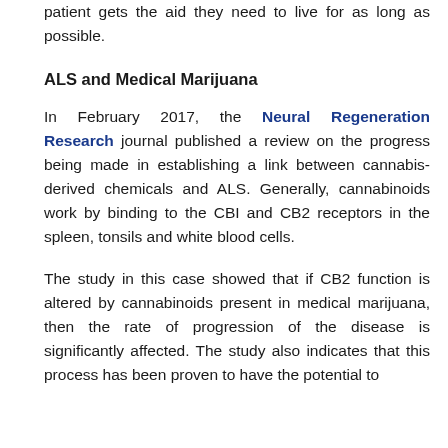patient gets the aid they need to live for as long as possible.
ALS and Medical Marijuana
In February 2017, the Neural Regeneration Research journal published a review on the progress being made in establishing a link between cannabis-derived chemicals and ALS. Generally, cannabinoids work by binding to the CBI and CB2 receptors in the spleen, tonsils and white blood cells.
The study in this case showed that if CB2 function is altered by cannabinoids present in medical marijuana, then the rate of progression of the disease is significantly affected. The study also indicates that this process has been proven to have the potential to